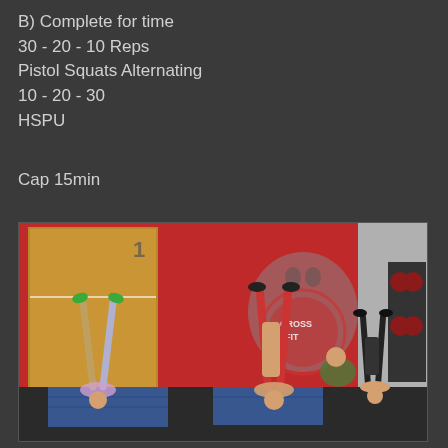B) Complete for time
30 - 20 - 10 Reps
Pistol Squats Alternating
10 - 20 - 30
HSPU

Cap 15min
[Figure (photo): CrossFit gym photo showing multiple athletes performing handstand push-ups (HSPU) against a red wall with a CrossFit logo/bear mural. Athletes are inverted against the wall on blue mats. A rack of medicine balls is visible on the right side.]